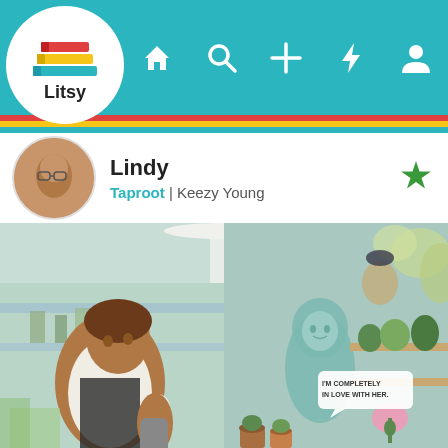[Figure (screenshot): Litsy app screenshot showing navigation bar with home, search, add, lightning, and profile icons on teal background, with Litsy logo (colorful stacked books) in white circle]
Lindy
Taproot | Keezy Young
[Figure (photo): Open graphic novel/comic book showing illustrated characters in a plant shop/garden scene. A character with a skull tattoo on their arm is in the foreground, a ghost-like teal character stands in the middle, and plants and shelves fill the background. A speech bubble reads 'I'M COMPLETELY IN LOVE WITH HER'.]